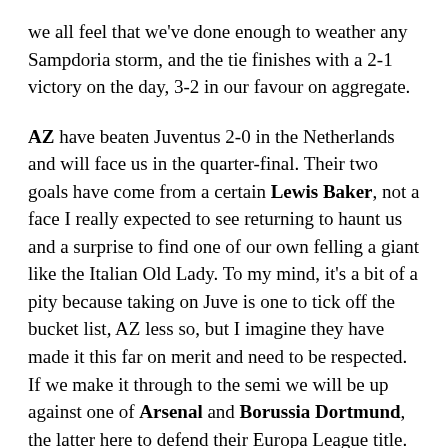we all feel that we've done enough to weather any Sampdoria storm, and the tie finishes with a 2-1 victory on the day, 3-2 in our favour on aggregate.
AZ have beaten Juventus 2-0 in the Netherlands and will face us in the quarter-final. Their two goals have come from a certain Lewis Baker, not a face I really expected to see returning to haunt us and a surprise to find one of our own felling a giant like the Italian Old Lady. To my mind, it's a bit of a pity because taking on Juve is one to tick off the bucket list, AZ less so, but I imagine they have made it this far on merit and need to be respected. If we make it through to the semi we will be up against one of Arsenal and Borussia Dortmund, the latter here to defend their Europa League title.
While all that was going on Liverpool have lost 3-0 away to Middlesbrough. A big surprise of a result; the